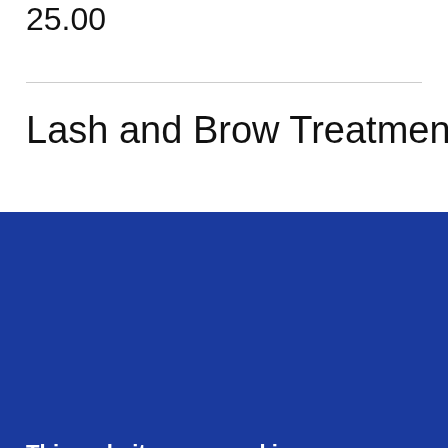25.00
Lash and Brow Treatments
This website uses cookies.
We use cookies to analyze website traffic and optimize your website experience. By accepting our use of cookies, your data will be aggregated with all other user data.
DECLINE
ACCEPT